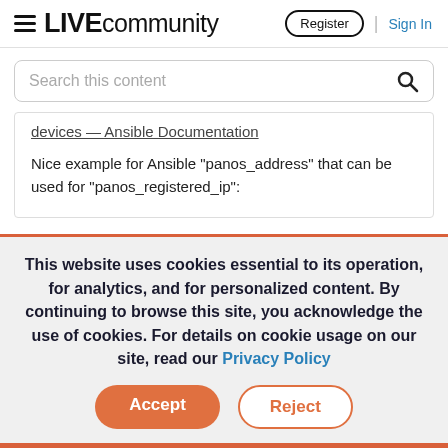LIVE community  Register | Sign In
Search this content
devices — Ansible Documentation

Nice example for Ansible "panos_address" that can be used for "panos_registered_ip":
This website uses cookies essential to its operation, for analytics, and for personalized content. By continuing to browse this site, you acknowledge the use of cookies. For details on cookie usage on our site, read our Privacy Policy